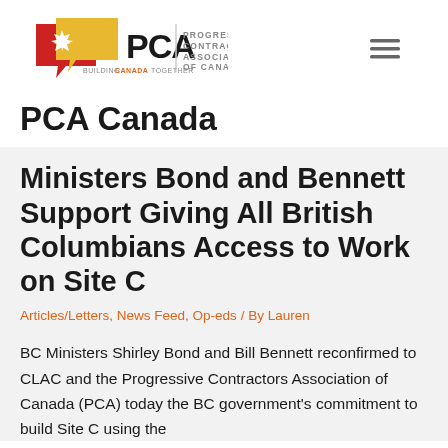[Figure (logo): PCA - Progressive Contractors Association of Canada logo with maple leaf icon and text 'BUILDING CANADA TOGETHER']
PCA Canada
Ministers Bond and Bennett Support Giving All British Columbians Access to Work on Site C
Articles/Letters, News Feed, Op-eds / By Lauren
BC Ministers Shirley Bond and Bill Bennett reconfirmed to CLAC and the Progressive Contractors Association of Canada (PCA) today the BC government's commitment to build Site C using the